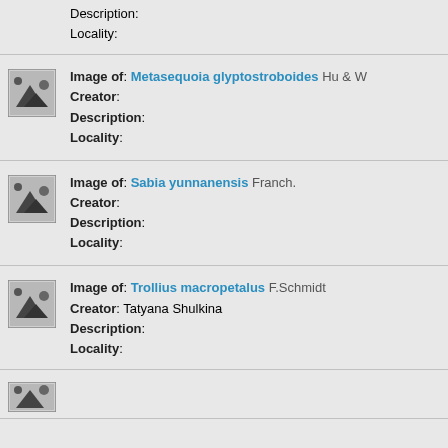Description:
Locality:
[Figure (photo): Thumbnail image placeholder for Metasequoia glyptostroboides]
Image of: Metasequoia glyptostroboides Hu & W.
Creator:
Description:
Locality:
[Figure (photo): Thumbnail image placeholder for Sabia yunnanensis]
Image of: Sabia yunnanensis Franch.
Creator:
Description:
Locality:
[Figure (photo): Thumbnail image placeholder for Trollius macropetalus]
Image of: Trollius macropetalus F.Schmidt
Creator: Tatyana Shulkina
Description:
Locality:
[Figure (photo): Thumbnail image placeholder (partial, bottom)]